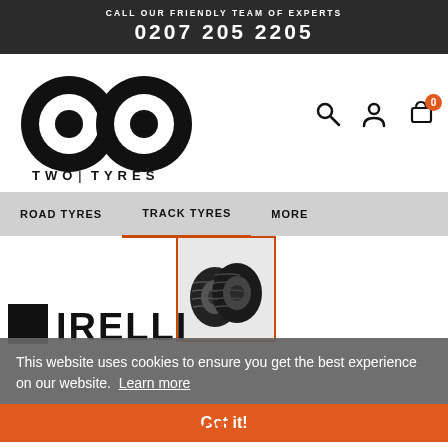CALL OUR FRIENDLY TEAM OF EXPERTS
0207 205 2205
[Figure (logo): Two Tyres logo — two overlapping circles with inner circles (infinity-like), with text TWO TYRES below]
[Figure (screenshot): Navigation bar with ROAD TYRES, TRACK TYRES, MORE menu items; cart icon with 0 badge, search icon, account icon]
[Figure (photo): Two motorcycle sport tyres (front and rear) displayed together in an orange-bordered box]
This website uses cookies to ensure you get the best experience on our website. Learn more
[Figure (logo): PIRELLI brand logo in dark/black text]
Pirelli Sport Demon